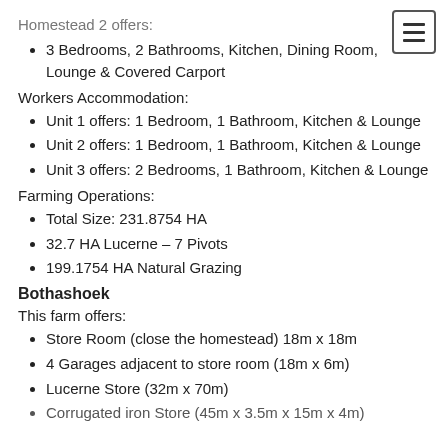Homestead 2 offers:
3 Bedrooms, 2 Bathrooms, Kitchen, Dining Room, Lounge & Covered Carport
Workers Accommodation:
Unit 1 offers: 1 Bedroom, 1 Bathroom, Kitchen & Lounge
Unit 2 offers: 1 Bedroom, 1 Bathroom, Kitchen & Lounge
Unit 3 offers: 2 Bedrooms, 1 Bathroom, Kitchen & Lounge
Farming Operations:
Total Size: 231.8754 HA
32.7 HA Lucerne – 7 Pivots
199.1754 HA Natural Grazing
Bothashoek
This farm offers:
Store Room (close the homestead) 18m x 18m
4 Garages adjacent to store room (18m x 6m)
Lucerne Store (32m x 70m)
Corrugated iron Store (45m x 3.5m x 15m x 4m)